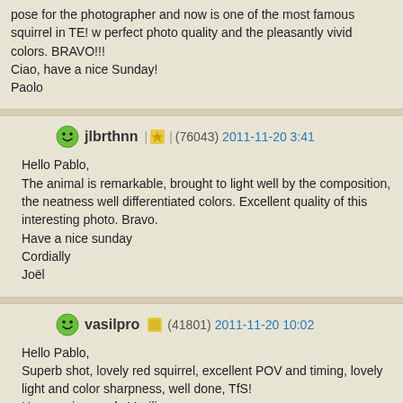pose for the photographer and now is one of the most famous squirrel in TE! w perfect photo quality and the pleasantly vivid colors. BRAVO!!!
Ciao, have a nice Sunday!
Paolo
jlbrthnn (76043) 2011-11-20 3:41
Hello Pablo,
The animal is remarkable, brought to light well by the composition, the neatness well differentiated colors. Excellent quality of this interesting photo. Bravo.
Have a nice sunday
Cordially
Joël
vasilpro (41801) 2011-11-20 10:02
Hello Pablo,
Superb shot, lovely red squirrel, excellent POV and timing, lovely light and color sharpness, well done, TfS!
Have a nice week, Vasilis.
Nicou (193814) 2011-11-21 1:53
Hello